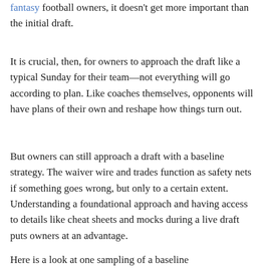fantasy football owners, it doesn't get more important than the initial draft.
It is crucial, then, for owners to approach the draft like a typical Sunday for their team—not everything will go according to plan. Like coaches themselves, opponents will have plans of their own and reshape how things turn out.
But owners can still approach a draft with a baseline strategy. The waiver wire and trades function as safety nets if something goes wrong, but only to a certain extent. Understanding a foundational approach and having access to details like cheat sheets and mocks during a live draft puts owners at an advantage.
Here is a look at one sampling of a baseline